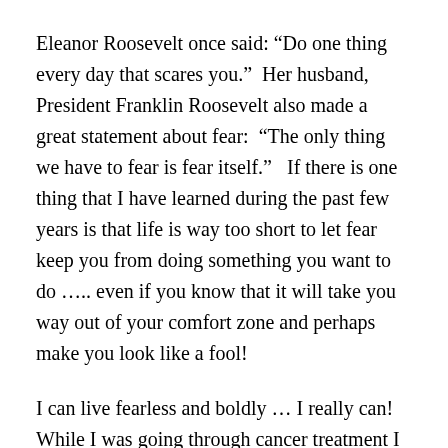Eleanor Roosevelt once said: “Do one thing every day that scares you.”  Her husband, President Franklin Roosevelt also made a great statement about fear:  “The only thing we have to fear is fear itself.”   If there is one thing that I have learned during the past few years is that life is way too short to let fear keep you from doing something you want to do ….. even if you know that it will take you way out of your comfort zone and perhaps make you look like a fool!
I can live fearless and boldly … I really can!  While I was going through cancer treatment I was able to travel to Wilmington to attend the play “Annie” that my granddaughter Abby had a role in …. she was Mollie!  Before the play started the director came out on the